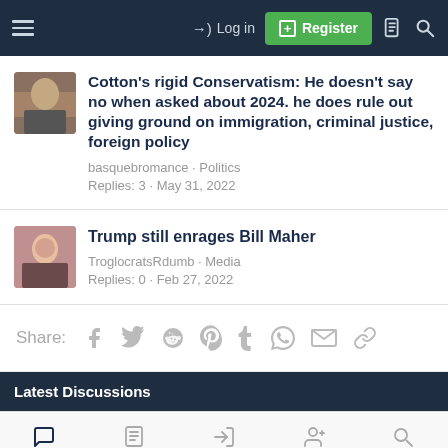Log in | Register
Cotton's rigid Conservatism: He doesn't say no when asked about 2024. he does rule out giving ground on immigration, criminal justice, foreign policy
basquebromance · Politics
Replies: 3 · May 31, 2022
Trump still enrages Bill Maher
TroglocratsRdumb · Media
Replies: 0 · Feb 27, 2022
Share:
Latest Discussions
Forums | What's New | Log In | Register | Search